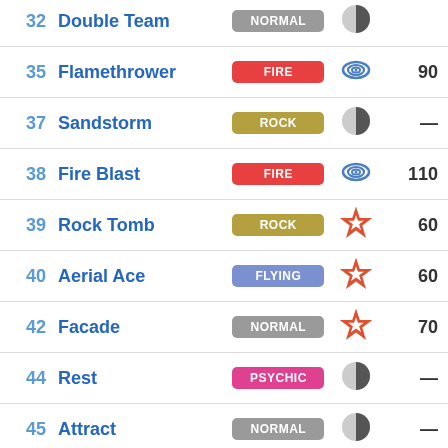| # | Move | Type | Category | Power |
| --- | --- | --- | --- | --- |
| 32 | Double Team | NORMAL | status | — |
| 35 | Flamethrower | FIRE | special | 90 |
| 37 | Sandstorm | ROCK | status | — |
| 38 | Fire Blast | FIRE | special | 110 |
| 39 | Rock Tomb | ROCK | physical | 60 |
| 40 | Aerial Ace | FLYING | physical | 60 |
| 42 | Facade | NORMAL | physical | 70 |
| 44 | Rest | PSYCHIC | status | — |
| 45 | Attract | NORMAL | status | — |
| 58 | Endure | NORMAL | status | — |
| 59 | Dragon Pulse | DRAGON | special | 85 |
| 65 | Shadow Claw | GHOST | physical | 70 |
| 71 | Stone Edge | ROCK | physical | 100 |